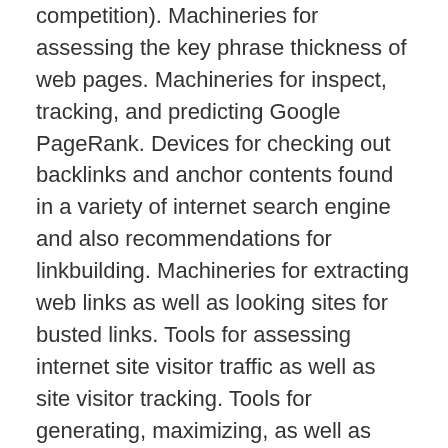competition). Machineries for assessing the key phrase thickness of web pages. Machineries for inspect, tracking, and predicting Google PageRank. Devices for checking out backlinks and anchor contents found in a variety of internet search engine and also recommendations for linkbuilding. Machineries for extracting web links as well as looking sites for busted links. Tools for assessing internet site visitor traffic as well as site visitor tracking. Tools for generating, maximizing, as well as drawing out meta tags. Machineries for recovering information about domain names, such as age as well as internet protocol address, machineries for locating expired domain names, and domain tip resources. Machineries for hyperlink building aid you from beginning to end. All These resources, you can discover all of them at www.sitepromotion.seoeasy.com